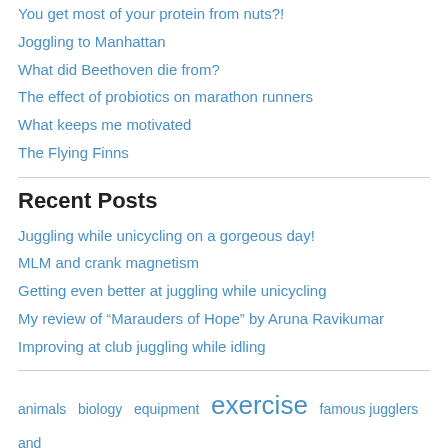You get most of your protein from nuts?!
Joggling to Manhattan
What did Beethoven die from?
The effect of probiotics on marathon runners
What keeps me motivated
The Flying Finns
Recent Posts
Juggling while unicycling on a gorgeous day!
MLM and crank magnetism
Getting even better at juggling while unicycling
My review of “Marauders of Hope” by Aruna Ravikumar
Improving at club juggling while idling
animals  biology  equipment  exercise  famous jugglers and  fitness  health